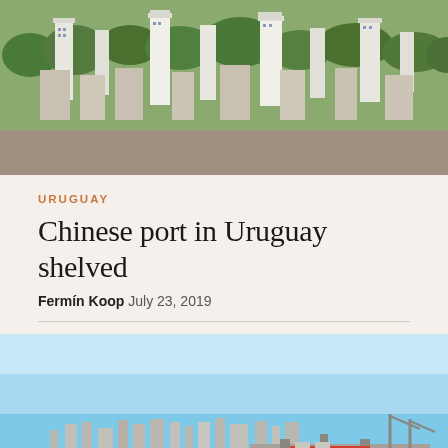[Figure (photo): Aerial view of an urban cityscape with dense buildings, trees, and white high-rise towers — likely Montevideo, Uruguay]
URUGUAY
Chinese port in Uruguay shelved
Fermín Koop  July 23, 2019
[Figure (photo): Wide panoramic view of Montevideo port from elevated position, showing blue harbor water, red cargo ship docked at port, city skyline in background, with small forested island in foreground]